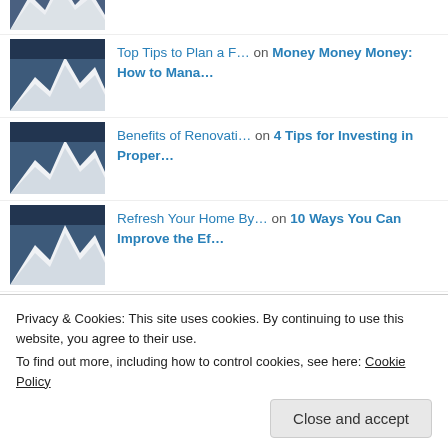[Figure (photo): Snowy mountain thumbnail (partial, top cropped)]
Top Tips to Plan a F… on Money Money Money: How to Mana…
[Figure (photo): Snowy mountain thumbnail]
Benefits of Renovati… on 4 Tips for Investing in Proper…
[Figure (photo): Snowy mountain thumbnail]
Refresh Your Home By… on 10 Ways You Can Improve the Ef…
[Figure (photo): Snowy mountain thumbnail]
10 Ways You Can Impr… on #BrainPower: 8 Supplements for…
[Figure (photo): Snowy mountain thumbnail]
Ready For A Great Ro… on Planning The Best Summer Road…
Privacy & Cookies: This site uses cookies. By continuing to use this website, you agree to their use. To find out more, including how to control cookies, see here: Cookie Policy
[Figure (photo): Snowy mountain thumbnail (partially visible)]
How to Choose the Ri… on Savvy Car Maintenance Tips To…